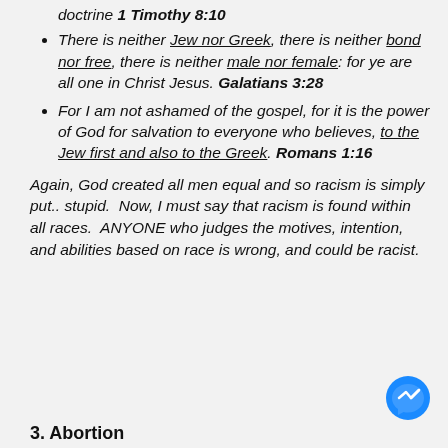doctrine 1 Timothy 8:10
There is neither Jew nor Greek, there is neither bond nor free, there is neither male nor female: for ye are all one in Christ Jesus. Galatians 3:28
For I am not ashamed of the gospel, for it is the power of God for salvation to everyone who believes, to the Jew first and also to the Greek. Romans 1:16
Again, God created all men equal and so racism is simply put.. stupid. Now, I must say that racism is found within all races. ANYONE who judges the motives, intention, and abilities based on race is wrong, and could be racist.
3. Abortion